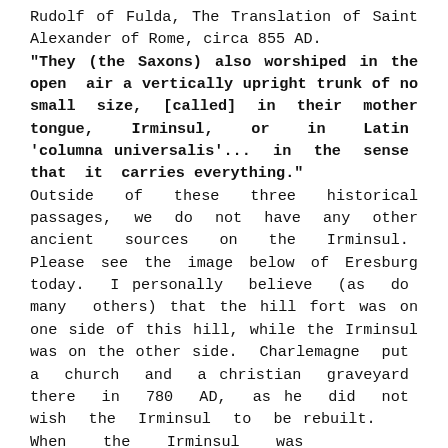Rudolf of Fulda, The Translation of Saint Alexander of Rome, circa 855 AD.
"They (the Saxons) also worshiped in the open air a vertically upright trunk of no small size, [called] in their mother tongue, Irminsul, or in Latin 'columna universalis'... in the sense that it carries everything."
Outside of these three historical passages, we do not have any other ancient sources on the Irminsul. Please see the image below of Eresburg today. I personally believe (as do many others) that the hill fort was on one side of this hill, while the Irminsul was on the other side. Charlemagne put a church and a christian graveyard there in 780 AD, as he did not wish the Irminsul to be rebuilt. When the Irminsul was